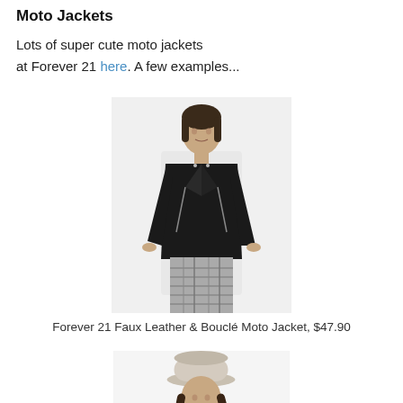Moto Jackets
Lots of super cute moto jackets at Forever 21 here. A few examples...
[Figure (photo): Woman modeling a black faux leather and bouclé moto jacket with plaid pants]
Forever 21 Faux Leather & Bouclé Moto Jacket, $47.90
[Figure (photo): Woman wearing a black moto jacket, white shirt, and a light-colored hat]